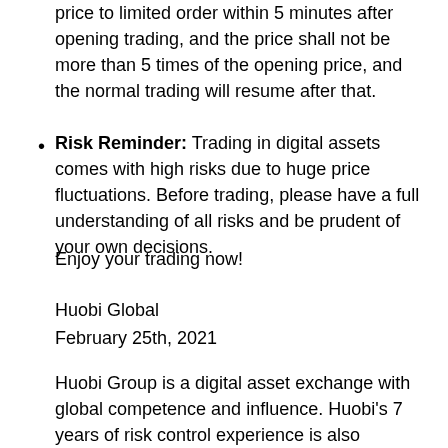price to limited order within 5 minutes after opening trading, and the price shall not be more than 5 times of the opening price, and the normal trading will resume after that.
Risk Reminder: Trading in digital assets comes with high risks due to huge price fluctuations. Before trading, please have a full understanding of all risks and be prudent of your own decisions.
Enjoy your trading now!
Huobi Global
February 25th, 2021
Huobi Group is a digital asset exchange with global competence and influence. Huobi's 7 years of risk control experience is also leveraged to ensure the security and reliability of the exchange. Thanks for supporting Huobi. You can invite your friends to trade on Huobi and enjoy 20% fee